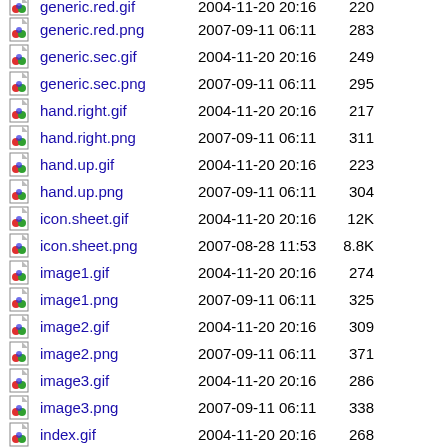generic.red.gif  2004-11-20 20:16  220
generic.red.png  2007-09-11 06:11  283
generic.sec.gif  2004-11-20 20:16  249
generic.sec.png  2007-09-11 06:11  295
hand.right.gif  2004-11-20 20:16  217
hand.right.png  2007-09-11 06:11  311
hand.up.gif  2004-11-20 20:16  223
hand.up.png  2007-09-11 06:11  304
icon.sheet.gif  2004-11-20 20:16  12K
icon.sheet.png  2007-08-28 11:53  8.8K
image1.gif  2004-11-20 20:16  274
image1.png  2007-09-11 06:11  325
image2.gif  2004-11-20 20:16  309
image2.png  2007-09-11 06:11  371
image3.gif  2004-11-20 20:16  286
image3.png  2007-09-11 06:11  338
index.gif  2004-11-20 20:16  268
index.png  2007-09-11 06:11  332